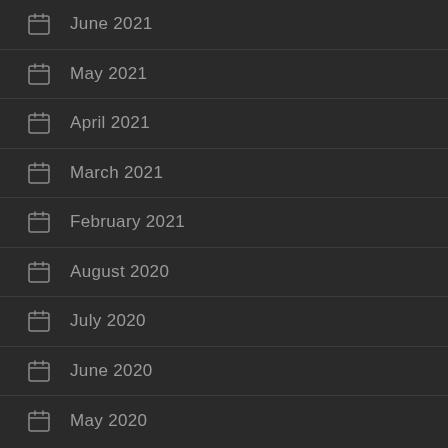June 2021
May 2021
April 2021
March 2021
February 2021
August 2020
July 2020
June 2020
May 2020